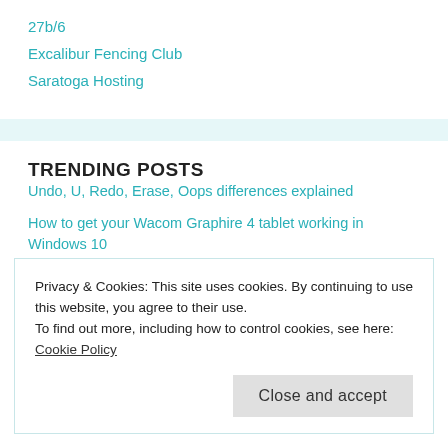27b/6
Excalibur Fencing Club
Saratoga Hosting
TRENDING POSTS
Undo, U, Redo, Erase, Oops differences explained
How to get your Wacom Graphire 4 tablet working in Windows 10
Adding Express Tools to BricsCAD
Privacy & Cookies: This site uses cookies. By continuing to use this website, you agree to their use.
To find out more, including how to control cookies, see here: Cookie Policy
Close and accept